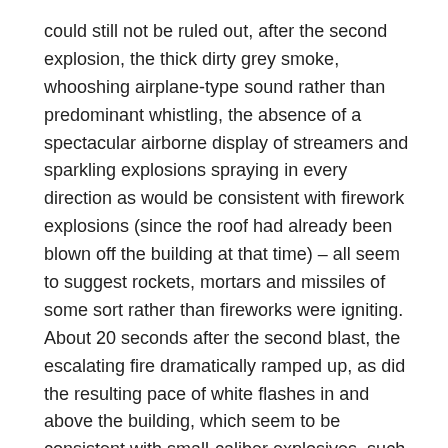could still not be ruled out, after the second explosion, the thick dirty grey smoke, whooshing airplane-type sound rather than predominant whistling, the absence of a spectacular airborne display of streamers and sparkling explosions spraying in every direction as would be consistent with firework explosions (since the roof had already been blown off the building at that time) – all seem to suggest rockets, mortars and missiles of some sort rather than fireworks were igniting. About 20 seconds after the second blast, the escalating fire dramatically ramped up, as did the resulting pace of white flashes in and above the building, which seem to be consistent with small-caliber explosives, such as mortars and rockets.
In short, something much more explosive, which produces white-grey dirty smoke and a sound like a roaring aircraft engine, produced the second explosion, of which we know